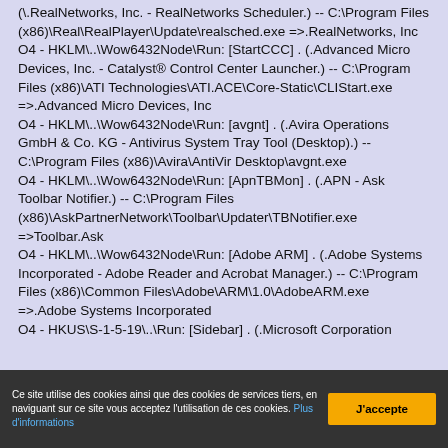(\RealNetworks, Inc. - RealNetworks Scheduler.) -- C:\Program Files (x86)\Real\RealPlayer\Update\realsched.exe =>.RealNetworks, Inc
O4 - HKLM\..\Wow6432Node\Run: [StartCCC] . (.Advanced Micro Devices, Inc. - Catalyst® Control Center Launcher.) -- C:\Program Files (x86)\ATI Technologies\ATI.ACE\Core-Static\CLIStart.exe =>.Advanced Micro Devices, Inc
O4 - HKLM\..\Wow6432Node\Run: [avgnt] . (.Avira Operations GmbH & Co. KG - Antivirus System Tray Tool (Desktop).) -- C:\Program Files (x86)\Avira\AntiVir Desktop\avgnt.exe
O4 - HKLM\..\Wow6432Node\Run: [ApnTBMon] . (.APN - Ask Toolbar Notifier.) -- C:\Program Files (x86)\AskPartnerNetwork\Toolbar\Updater\TBNotifier.exe =>Toolbar.Ask
O4 - HKLM\..\Wow6432Node\Run: [Adobe ARM] . (.Adobe Systems Incorporated - Adobe Reader and Acrobat Manager.) -- C:\Program Files (x86)\Common Files\Adobe\ARM\1.0\AdobeARM.exe =>.Adobe Systems Incorporated
O4 - HKUS\S-1-5-19\..\Run: [Sidebar] . (.Microsoft Corporation
Ce site utilise des cookies ainsi que des cookies de services tiers, en naviguant sur ce site vous acceptez l'utilisation de ces cookies. Plus d'informations
J'accepte